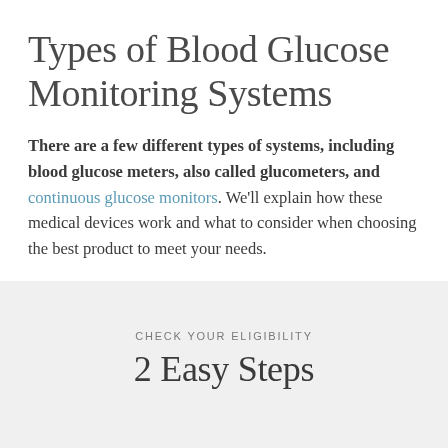Types of Blood Glucose Monitoring Systems
There are a few different types of systems, including blood glucose meters, also called glucometers, and continuous glucose monitors. We'll explain how these medical devices work and what to consider when choosing the best product to meet your needs.
CHECK YOUR ELIGIBILITY
2 Easy Steps